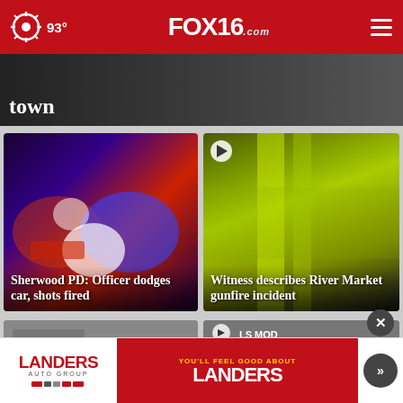FOX16.com — 93°
[Figure (photo): Partial news image with white text 'town' at bottom left]
[Figure (photo): Police car lights blur photo — news card for Sherwood PD story]
Sherwood PD: Officer dodges car, shots fired
[Figure (photo): Yellow/green tinted video thumbnail with play icon — witness story]
Witness describes River Market gunfire incident
[Figure (photo): Partial bottom-left news card]
[Figure (photo): Partial bottom-right news card]
[Figure (other): Landers Auto Group advertisement banner with 'You'll Feel Good About Landers' slogan]